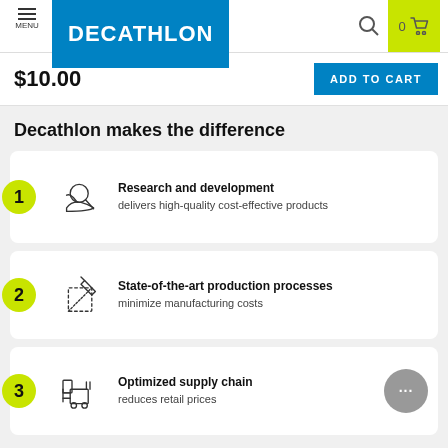[Figure (screenshot): Decathlon website header with menu icon, Decathlon logo in blue, search icon, and shopping cart with 0 items on lime green background]
$10.00
ADD TO CART
Decathlon makes the difference
1 Research and development delivers high-quality cost-effective products
2 State-of-the-art production processes minimize manufacturing costs
3 Optimized supply chain reduces retail prices